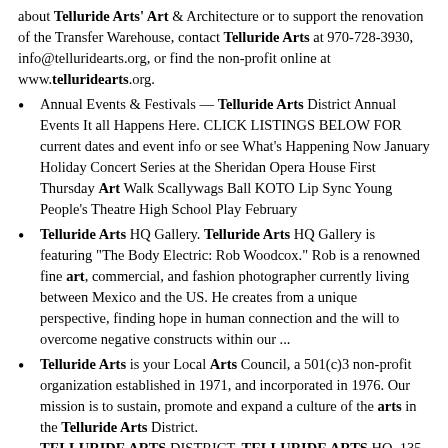about Telluride Arts' Art & Architecture or to support the renovation of the Transfer Warehouse, contact Telluride Arts at 970-728-3930, info@telluridearts.org, or find the non-profit online at www.telluridearts.org.
Annual Events & Festivals — Telluride Arts District Annual Events It all Happens Here. CLICK LISTINGS BELOW FOR current dates and event info or see What's Happening Now January Holiday Concert Series at the Sheridan Opera House First Thursday Art Walk Scallywags Ball KOTO Lip Sync Young People's Theatre High School Play February
Telluride Arts HQ Gallery. Telluride Arts HQ Gallery is featuring "The Body Electric: Rob Woodcox." Rob is a renowned fine art, commercial, and fashion photographer currently living between Mexico and the US. He creates from a unique perspective, finding hope in human connection and the will to overcome negative constructs within our ...
Telluride Arts is your Local Arts Council, a 501(c)3 non-profit organization established in 1971, and incorporated in 1976. Our mission is to sustain, promote and expand a culture of the arts in the Telluride Arts District. TELLURIDE ARTS DISTRICT. TELLURIDE ARTS HQ. 135 W PACIFIC, TELLURIDE, CO 81435.